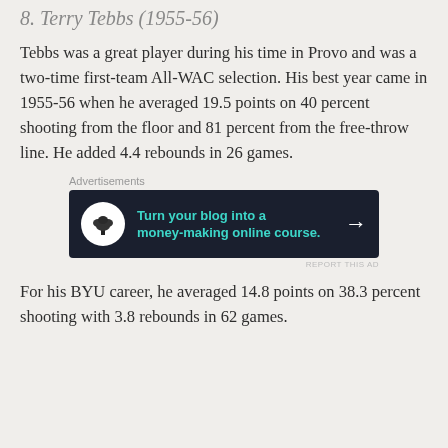8. Terry Tebbs (1955-56)
Tebbs was a great player during his time in Provo and was a two-time first-team All-WAC selection. His best year came in 1955-56 when he averaged 19.5 points on 40 percent shooting from the floor and 81 percent from the free-throw line. He added 4.4 rebounds in 26 games.
[Figure (screenshot): Advertisement banner: dark navy background with bonsai tree icon, teal text reading 'Turn your blog into a money-making online course.' with a white arrow pointing right. Labeled 'Advertisements' above.]
For his BYU career, he averaged 14.8 points on 38.3 percent shooting with 3.8 rebounds in 62 games.